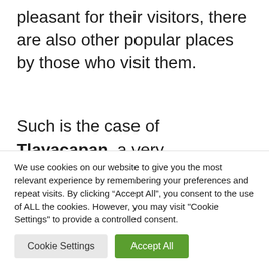pleasant for their visitors, there are also other popular places by those who visit them.
Such is the case of Tlayacapan, a very picturesque magical town located about two and a half hours from Mexico City. The history of this site dates back to the time of the Olmecs, as evidenced by the architecture
We use cookies on our website to give you the most relevant experience by remembering your preferences and repeat visits. By clicking “Accept All”, you consent to the use of ALL the cookies. However, you may visit "Cookie Settings" to provide a controlled consent.